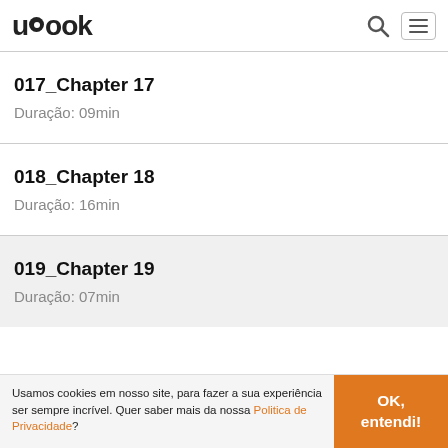ubook
017_Chapter 17
Duração: 09min
018_Chapter 18
Duração: 16min
019_Chapter 19
Duração: 07min
Usamos cookies em nosso site, para fazer a sua experiência ser sempre incrível. Quer saber mais da nossa Politica de Privacidade?
OK, entendi!